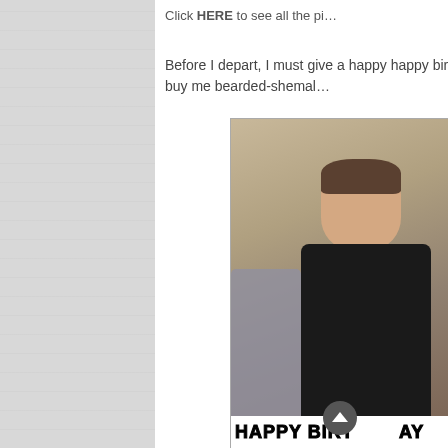Click HERE to see all the pi…
Before I depart, I must give a happy happy birtho… buy me bearded-shemal…
[Figure (photo): A young man in a dark jacket leaning forward, with partial view of another person in grey on the left. A 'HAPPY BIRTHDAY' banner appears at the bottom of the photo in bold white text with black outline.]